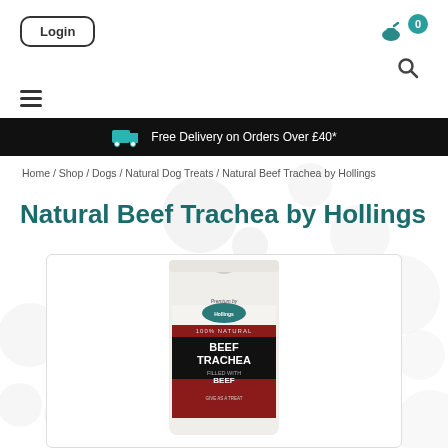Login
Free Delivery on Orders Over £40*
Home / Shop / Dogs / Natural Dog Treats / Natural Beef Trachea by Hollings
Natural Beef Trachea by Hollings
[Figure (photo): Product photo of Hollings Natural Beef Trachea Filled with Beef dog treat in a white resealable package with a dark maroon label showing '100% Natural Beef Trachea Filled With Beef'.]